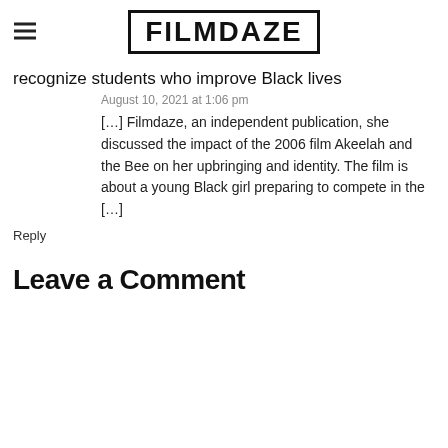FILMDAZE
recognize students who improve Black lives
August 10, 2021 at 1:06 pm
[…] Filmdaze, an independent publication, she discussed the impact of the 2006 film Akeelah and the Bee on her upbringing and identity. The film is about a young Black girl preparing to compete in the […]
Reply
Leave a Comment